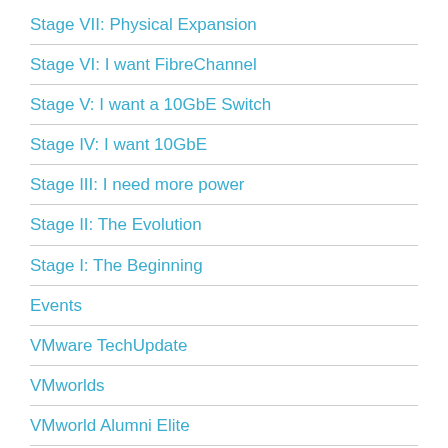Stage VII: Physical Expansion
Stage VI: I want FibreChannel
Stage V: I want a 10GbE Switch
Stage IV: I want 10GbE
Stage III: I need more power
Stage II: The Evolution
Stage I: The Beginning
Events
VMware TechUpdate
VMworlds
VMworld Alumni Elite